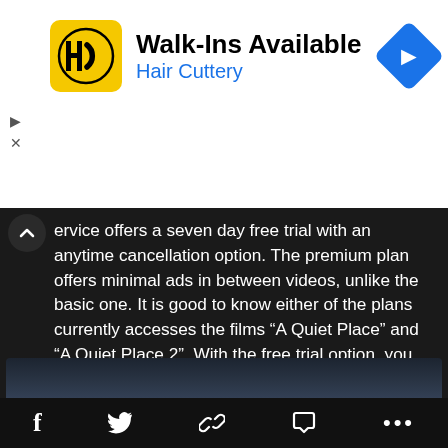[Figure (screenshot): Hair Cuttery advertisement banner with yellow HC logo, 'Walk-Ins Available' headline, blue 'Hair Cuttery' subtitle, and blue navigation diamond icon on the right.]
service offers a seven day free trial with an anytime cancellation option. The premium plan offers minimal ads in between videos, unlike the basic one. It is good to know either of the plans currently accesses the films “A Quiet Place” and “A Quiet Place 2”. With the free trial option, you can even watch the films for free if you haven’t before been a subscriber of Paramount +.
[Figure (screenshot): Dark cinematic scene showing three silhouetted figures from behind against an industrial backdrop, with a glowing Paramount+ logo (mountain with stars) in the foreground left.]
f   🐦   🔗   💬   •••